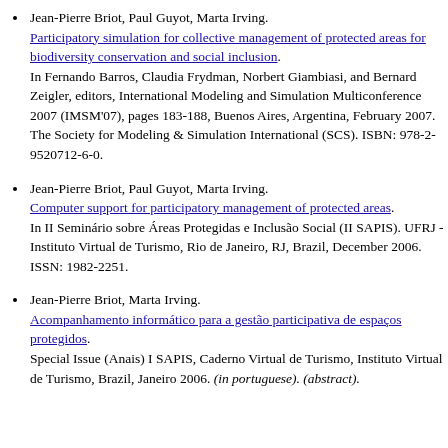Jean-Pierre Briot, Paul Guyot, Marta Irving. Participatory simulation for collective management of protected areas for biodiversity conservation and social inclusion. In Fernando Barros, Claudia Frydman, Norbert Giambiasi, and Bernard Zeigler, editors, International Modeling and Simulation Multiconference 2007 (IMSM'07), pages 183-188, Buenos Aires, Argentina, February 2007. The Society for Modeling & Simulation International (SCS). ISBN: 978-2-9520712-6-0.
Jean-Pierre Briot, Paul Guyot, Marta Irving. Computer support for participatory management of protected areas. In II Seminário sobre Áreas Protegidas e Inclusão Social (II SAPIS). UFRJ - Instituto Virtual de Turismo, Rio de Janeiro, RJ, Brazil, December 2006. ISSN: 1982-2251.
Jean-Pierre Briot, Marta Irving. Acompanhamento informático para a gestão participativa de espaços protegidos. Special Issue (Anais) I SAPIS, Caderno Virtual de Turismo, Instituto Virtual de Turismo, Brazil, Janeiro 2006. (in portuguese). (abstract).